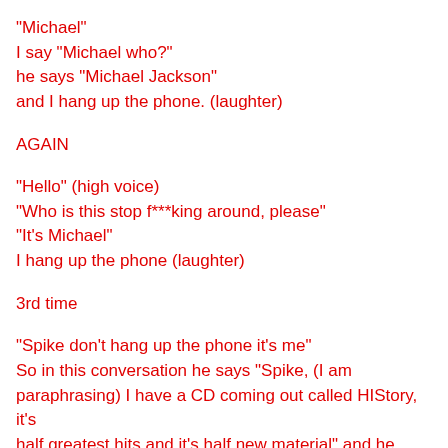“Michael”
I say “Michael who?”
he says “Michael Jackson”
and I hang up the phone. (laughter)
AGAIN
“Hello” (high voice)
“Who is this stop f***king around, please”
“It’s Michael”
I hang up the phone (laughter)
3rd time
“Spike don’t hang up the phone it’s me”
So in this conversation he says “Spike, (I am paraphrasing) I have a CD coming out called HIStory, it’s half greatest hits and it’s half new material” and he says h